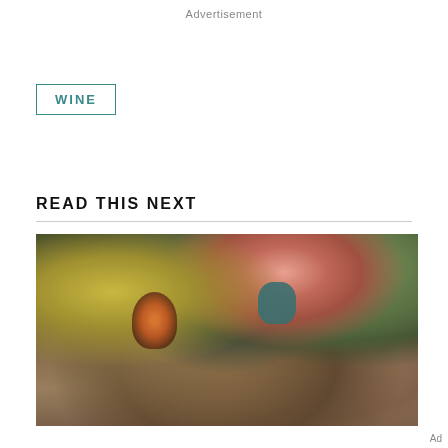Advertisement
WINE
READ THIS NEXT
[Figure (photo): Outdoor dining table set with plates, glasses, and a blue vase with pink flowers, surrounded by green trees and foliage, with a fire pit in the background.]
Ad